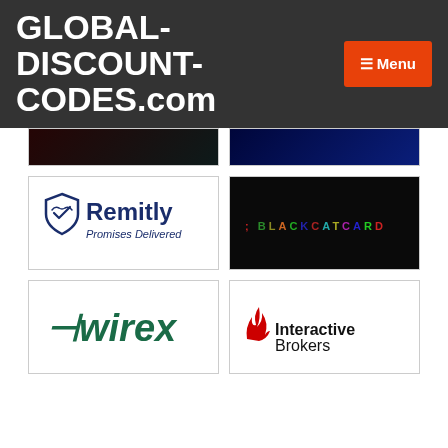GLOBAL-DISCOUNT-CODES.com
[Figure (logo): Remitly logo - shield icon with handshake, text 'Remitly Promises Delivered' in navy blue]
[Figure (logo): BlackCatCard logo - colorful text on black background, semicolon prefix]
[Figure (logo): Wirex logo - stylized green text with arrow prefix]
[Figure (logo): Interactive Brokers logo - red flame icon with bold and normal weight text]